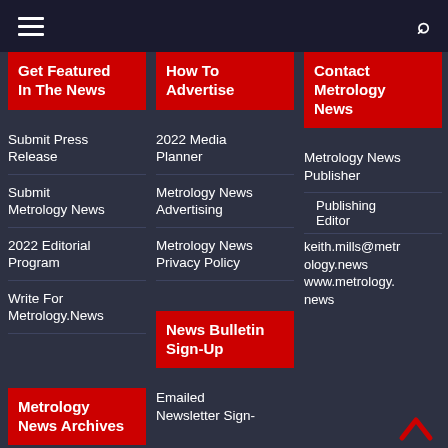≡  🔍
Get Featured In The News
How To Advertise
Contact Metrology News
Submit Press Release
2022 Media Planner
Metrology News Publisher
Submit Metrology News
Metrology News Advertising
Publishing Editor
2022 Editorial Program
Metrology News Privacy Policy
keith.mills@metrology.news
www.metrology.news
Write For Metrology.News
News Bulletin Sign-Up
Metrology News Archives
Emailed Newsletter Sign-